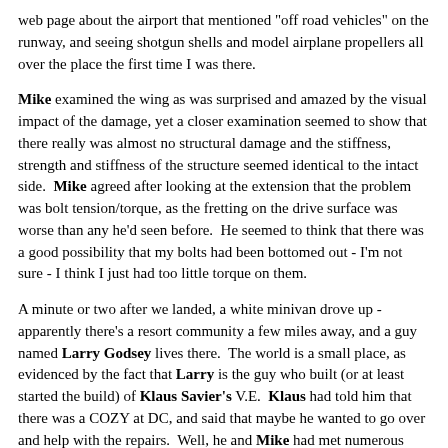web page about the airport that mentioned "off road vehicles" on the runway, and seeing shotgun shells and model airplane propellers all over the place the first time I was there.
Mike examined the wing as was surprised and amazed by the visual impact of the damage, yet a closer examination seemed to show that there really was almost no structural damage and the stiffness, strength and stiffness of the structure seemed identical to the intact side. Mike agreed after looking at the extension that the problem was bolt tension/torque, as the fretting on the drive surface was worse than any he'd seen before. He seemed to think that there was a good possibility that my bolts had been bottomed out - I'm not sure - I think I just had too little torque on them.
A minute or two after we landed, a white minivan drove up - apparently there's a resort community a few miles away, and a guy named Larry Godsey lives there. The world is a small place, as evidenced by the fact that Larry is the guy who built (or at least started the build) of Klaus Savier's V.E. Klaus had told him that there was a COZY at DC, and said that maybe he wanted to go over and help with the repairs. Well, he and Mike had met numerous times and remembered each other, so they yakked while we worked. What's the chance of THAT?
Anyway, while I removed the prop extension, Mike cleaned the